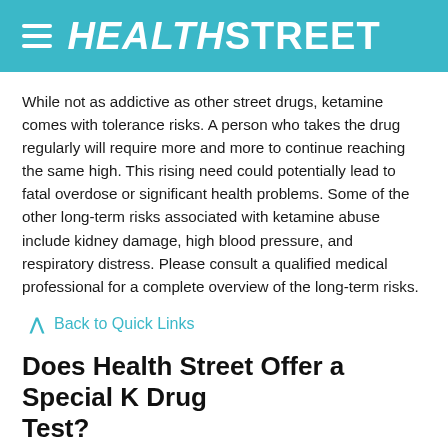HealthStreet
While not as addictive as other street drugs, ketamine comes with tolerance risks. A person who takes the drug regularly will require more and more to continue reaching the same high. This rising need could potentially lead to fatal overdose or significant health problems. Some of the other long-term risks associated with ketamine abuse include kidney damage, high blood pressure, and respiratory distress. Please consult a qualified medical professional for a complete overview of the long-term risks.
Back to Quick Links
Does Health Street Offer a Special K Drug Test?